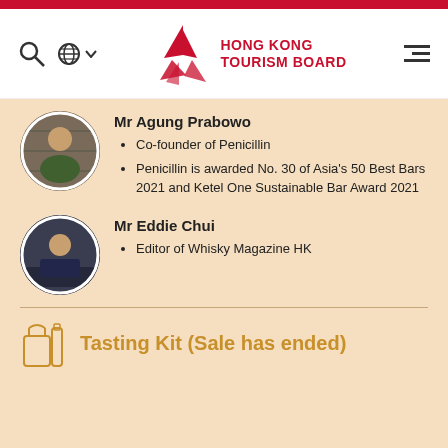Hong Kong Tourism Board
Mr Agung Prabowo
Co-founder of Penicillin
Penicillin is awarded No. 30 of Asia's 50 Best Bars 2021 and Ketel One Sustainable Bar Award 2021
Mr Eddie Chui
Editor of Whisky Magazine HK
Tasting Kit (Sale has ended)